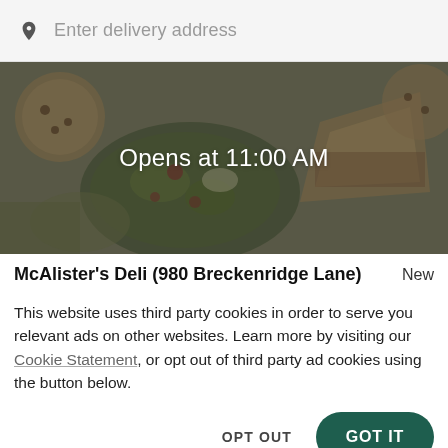Enter delivery address
[Figure (photo): Overhead food photography showing salads, sandwiches, and cookies on a table, overlaid with dark tint and centered text 'Opens at 11:00 AM']
McAlister's Deli (980 Breckenridge Lane)
New
This website uses third party cookies in order to serve you relevant ads on other websites. Learn more by visiting our Cookie Statement, or opt out of third party ad cookies using the button below.
OPT OUT
GOT IT